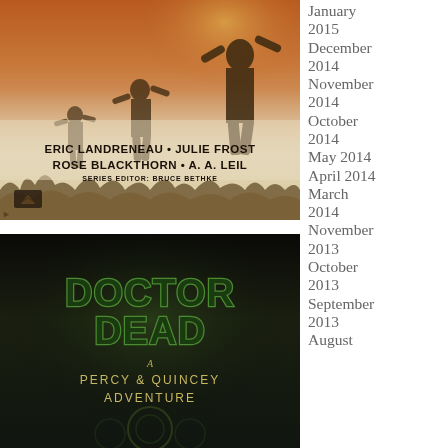[Figure (illustration): Book cover image with zombie silhouettes in a misty landscape. Text reads: ERIC LANDRENEAU • JULIE FROST / ROSE BLACKTHORN • A. A. LEIL / SERIES EDITOR: BRUCE BETHKE with a logo in bottom left.]
[Figure (illustration): Book cover for 'Doctor Dead: A Percy & Quincey Adventure' with stylized green metallic title text on dark background.]
January 2015
December 2014
November 2014
October 2014
May 2014
April 2014
March 2014
November 2013
October 2013
September 2013
August